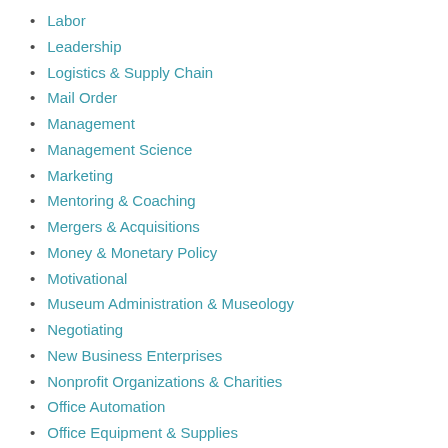Labor
Leadership
Logistics & Supply Chain
Mail Order
Management
Management Science
Marketing
Mentoring & Coaching
Mergers & Acquisitions
Money & Monetary Policy
Motivational
Museum Administration & Museology
Negotiating
New Business Enterprises
Nonprofit Organizations & Charities
Office Automation
Office Equipment & Supplies
Office Management
Operations Research
Organizational Behavior